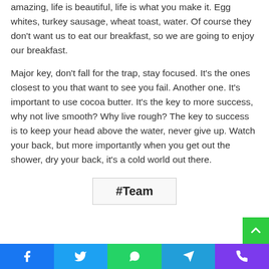amazing, life is beautiful, life is what you make it. Egg whites, turkey sausage, wheat toast, water. Of course they don't want us to eat our breakfast, so we are going to enjoy our breakfast.
Major key, don't fall for the trap, stay focused. It's the ones closest to you that want to see you fail. Another one. It's important to use cocoa butter. It's the key to more success, why not live smooth? Why live rough? The key to success is to keep your head above the water, never give up. Watch your back, but more importantly when you get out the shower, dry your back, it's a cold world out there.
#Team